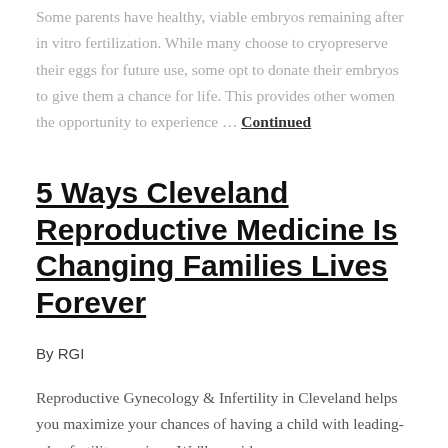Some parents have healthy, viable embryos remaining after in vitro fertilization. While many choose to cryopreserve their eggs for future use, some opt to donate their embryos to give them a chance for life. This provides other women the opportunity to experience … Continued
5 Ways Cleveland Reproductive Medicine Is Changing Families Lives Forever
By RGI
Reproductive Gynecology & Infertility in Cleveland helps you maximize your chances of having a child with leading-edge fertility services. We'll provide you